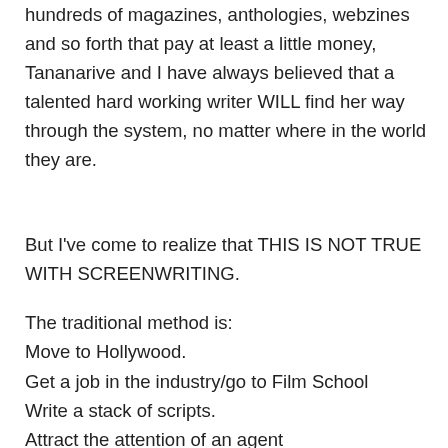hundreds of magazines, anthologies, webzines and so forth that pay at least a little money, Tananarive and I have always believed that a talented hard working writer WILL find her way through the system, no matter where in the world they are.
But I've come to realize that THIS IS NOT TRUE WITH SCREENWRITING.
The traditional method is:
Move to Hollywood.
Get a job in the industry/go to Film School
Write a stack of scripts.
Attract the attention of an agent
Submit
Option
Rewrite
Sell
Enter production
Enter post-production
Get distribution deal